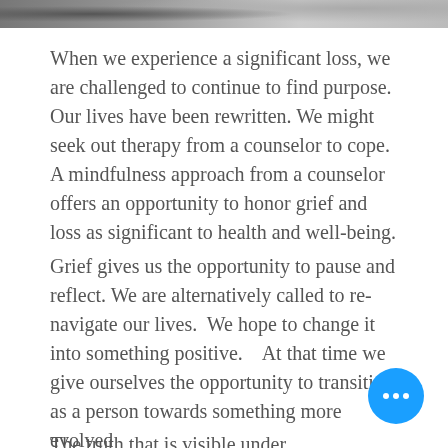[Figure (photo): Partial photo strip at the top of the page, appears to be a dark nature or sky photo]
When we experience a significant loss, we are challenged to continue to find purpose. Our lives have been rewritten. We might seek out therapy from a counselor to cope. A mindfulness approach from a counselor offers an opportunity to honor grief and loss as significant to health and well-being.
Grief gives us the opportunity to pause and reflect. We are alternatively called to re-navigate our lives.  We hope to change it into something positive.   At that time we give ourselves the opportunity to transition as a person towards something more evolved
The truth that is visible under...